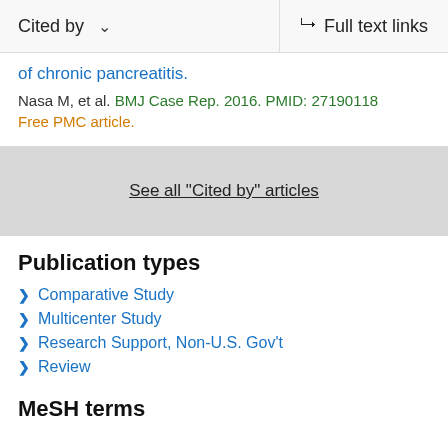Cited by   Full text links
of chronic pancreatitis.
Nasa M, et al. BMJ Case Rep. 2016. PMID: 27190118
Free PMC article.
See all "Cited by" articles
Publication types
Comparative Study
Multicenter Study
Research Support, Non-U.S. Gov't
Review
MeSH terms